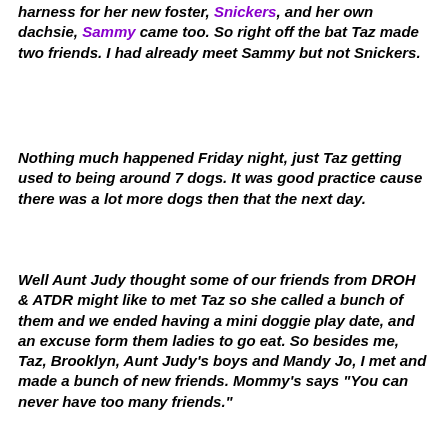harness for her new foster, Snickers, and her own dachsie, Sammy came too. So right off the bat Taz made two friends. I had already meet Sammy but not Snickers.
Nothing much happened Friday night, just Taz getting used to being around 7 dogs. It was good practice cause there was a lot more dogs then that the next day.
Well Aunt Judy thought some of our friends from DROH & ATDR might like to met Taz so she called a bunch of them and we ended having a mini doggie play date, and an excuse form them ladies to go eat. So besides me, Taz, Brooklyn, Aunt Judy's boys and Mandy Jo, I met and made a bunch of new friends. Mommy's says "You can never have too many friends."